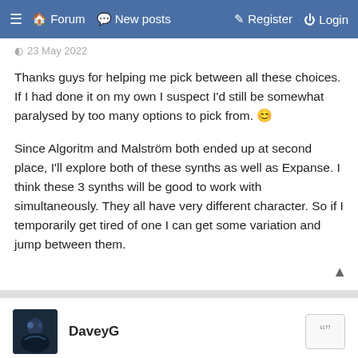≡ 🏠 Forum 💬 New posts 📝 Register ⏻ Login
23 May 2022
Thanks guys for helping me pick between all these choices. If I had done it on my own I suspect I'd still be somewhat paralysed by too many options to pick from. 🙂

Since Algoritm and Malström both ended up at second place, I'll explore both of these synths as well as Expanse. I think these 3 synths will be good to work with simultaneously. They all have very different character. So if I temporarily get tired of one I can get some variation and jump between them.
DaveyG
23 May 2022